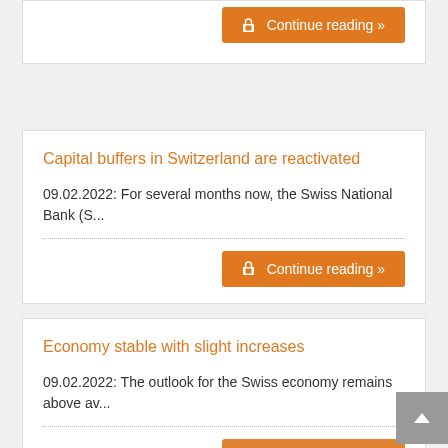Continue reading »
Capital buffers in Switzerland are reactivated
09.02.2022: For several months now, the Swiss National Bank (S...
Continue reading »
Economy stable with slight increases
09.02.2022: The outlook for the Swiss economy remains above av...
Continue reading »